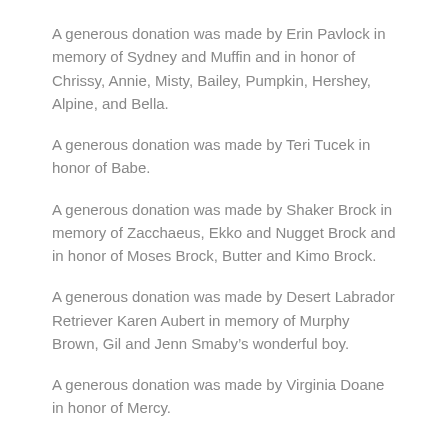A generous donation was made by Erin Pavlock in memory of Sydney and Muffin and in honor of Chrissy, Annie, Misty, Bailey, Pumpkin, Hershey, Alpine, and Bella.
A generous donation was made by Teri Tucek in honor of Babe.
A generous donation was made by Shaker Brock in memory of Zacchaeus, Ekko and Nugget Brock and in honor of Moses Brock, Butter and Kimo Brock.
A generous donation was made by Desert Labrador Retriever Karen Aubert in memory of Murphy Brown, Gil and Jenn Smaby’s wonderful boy.
A generous donation was made by Virginia Doane in honor of Mercy.